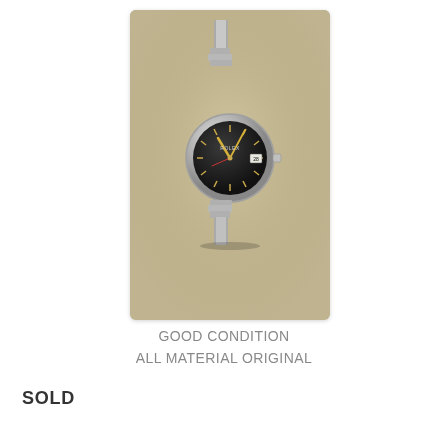[Figure (photo): A silver analog wristwatch with a dark/black dial and metal bracelet, shown flat on a light beige/tan surface. The watch appears to be a dress or sport style with index markers and a date window. The photo is taken from above with soft studio lighting.]
GOOD CONDITION
ALL MATERIAL ORIGINAL
SOLD